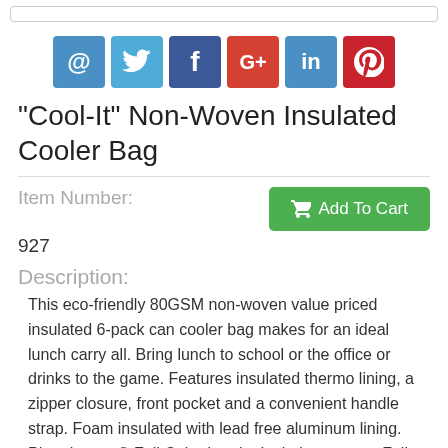[Figure (infographic): Row of six social media sharing icons: email (@), Twitter (bird), Facebook (f), Google+ (G+), LinkedIn (in), Pinterest (p)]
"Cool-It" Non-Woven Insulated Cooler Bag
Item Number:
927
Description:
This eco-friendly 80GSM non-woven value priced insulated 6-pack can cooler bag makes for an ideal lunch carry all. Bring lunch to school or the office or drinks to the game. Features insulated thermo lining, a zipper closure, front pocket and a convenient handle strap. Foam insulated with lead free aluminum lining. Photoimage ® Full Color Imprint Includes: up to a Full Color Imprint. Exact color match cannot be achieved. Add 5 Days to Production. Complies with CPSIA, Prop